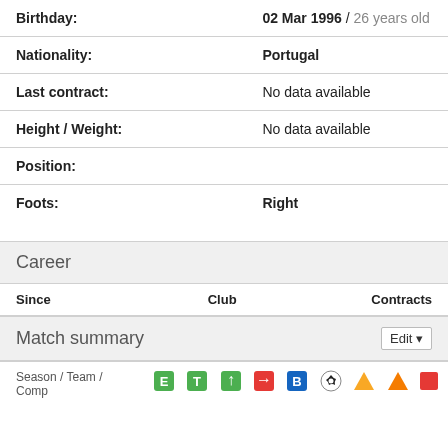| Field | Value |
| --- | --- |
| Birthday: | 02 Mar 1996 / 26 years old |
| Nationality: | Portugal |
| Last contract: | No data available |
| Height / Weight: | No data available |
| Position: |  |
| Foots: | Right |
Career
| Since | Club | Contracts |
| --- | --- | --- |
Match summary
| Season / Team / Comp |  |  |  |  |  |  |  |  |
| --- | --- | --- | --- | --- | --- | --- | --- | --- |